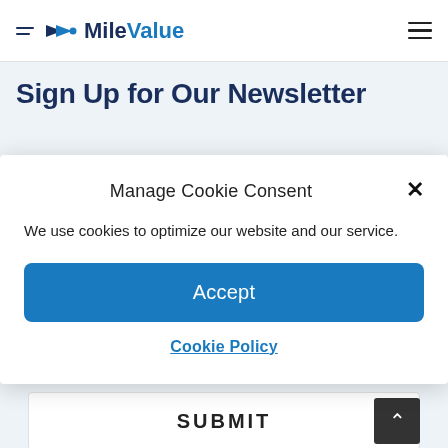MileValue
Sign Up for Our Newsletter
Manage Cookie Consent
We use cookies to optimize our website and our service.
Accept
Cookie Policy
Email Address
SUBMIT